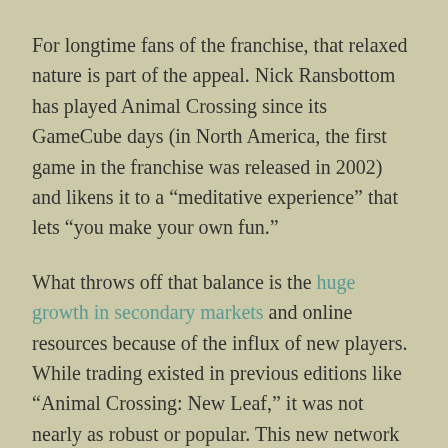For longtime fans of the franchise, that relaxed nature is part of the appeal. Nick Ransbottom has played Animal Crossing since its GameCube days (in North America, the first game in the franchise was released in 2002) and likens it to a “meditative experience” that lets “you make your own fun.”
What throws off that balance is the huge growth in secondary markets and online resources because of the influx of new players. While trading existed in previous editions like “Animal Crossing: New Leaf,” it was not nearly as robust or popular. This new network of trading changes the game from a random item dispenser into a full-blown economy, according to Eviolfur “Evio”